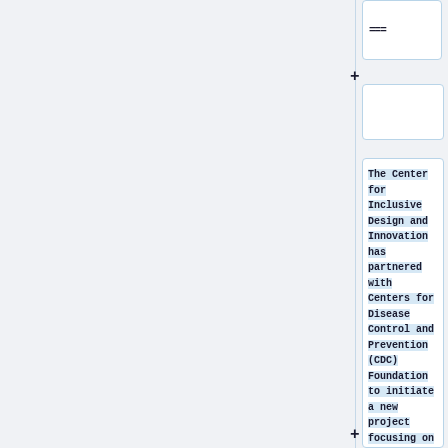[Figure (screenshot): UI screenshot showing a document editor or CMS interface with two collapsed/expandable card sections and one expanded text card. The top card shows '===' text, a middle empty card, and a main card with highlighted monospace text reading: 'The Center for Inclusive Design and Innovation has partnered with Centers for Disease Control and Prevention (CDC) Foundation to initiate a new project focusing on'. Plus (+) symbols appear on the left side between cards as expand/collapse controls. The layout is two-column with a gray left panel and a right column containing the cards.]